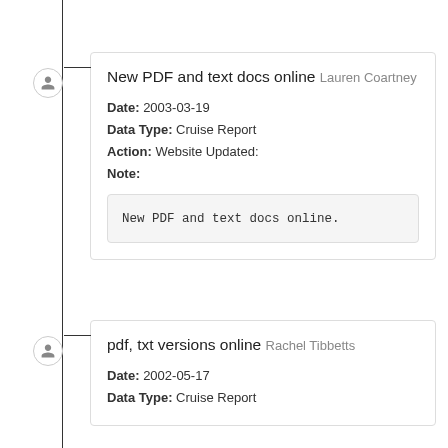New PDF and text docs online Lauren Coartney
Date: 2003-03-19
Data Type: Cruise Report
Action: Website Updated:
Note:
New PDF and text docs online.
pdf, txt versions online Rachel Tibbetts
Date: 2002-05-17
Data Type: Cruise Report